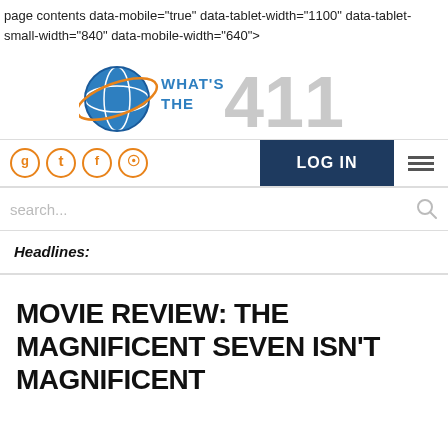page contents data-mobile="true" data-tablet-width="1100" data-tablet-small-width="840" data-mobile-width="640">
[Figure (logo): What's The 411 logo with globe icon and large '411' text in gray]
LOG IN
Social icons: Google+, Twitter, Facebook, RSS
search...
Headlines:
MOVIE REVIEW: THE MAGNIFICENT SEVEN ISN'T MAGNIFICENT